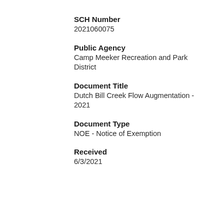SCH Number
2021060075
Public Agency
Camp Meeker Recreation and Park District
Document Title
Dutch Bill Creek Flow Augmentation - 2021
Document Type
NOE - Notice of Exemption
Received
6/3/2021